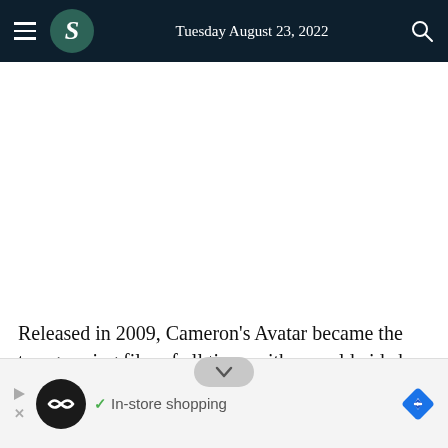Tuesday August 23, 2022
[Figure (other): Large white advertisement/media placeholder area]
Released in 2009, Cameron's Avatar became the top-grossing film of all time with a worldwide box office
[Figure (infographic): Bottom advertisement banner with Loopring logo, play/close icons, checkmark, 'In-store shopping' text, and blue navigation diamond icon]